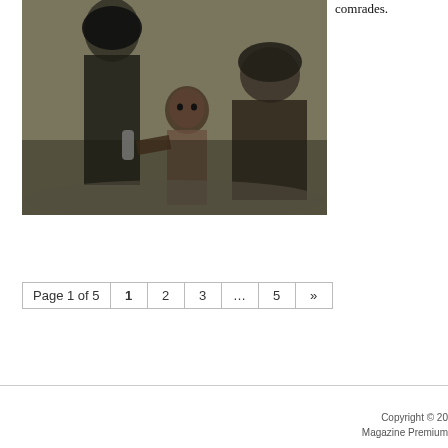[Figure (photo): Black and white photograph of two adults and a child in what appears to be an outdoor setting with sandy/rocky background. The figures appear to be Middle Eastern or South Asian.]
comrades.
Page 1 of 5  1  2  3  …  5  »
Copyright © 20
Magazine Premium